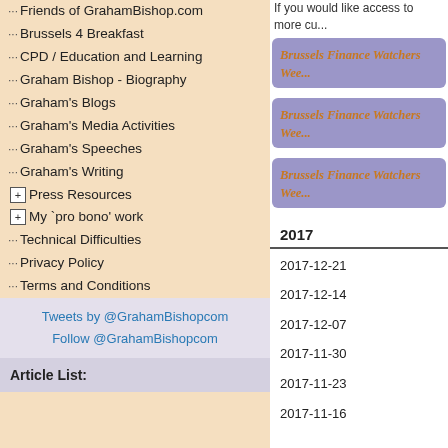Friends of GrahamBishop.com
Brussels 4 Breakfast
CPD / Education and Learning
Graham Bishop - Biography
Graham's Blogs
Graham's Media Activities
Graham's Speeches
Graham's Writing
Press Resources
My 'pro bono' work
Technical Difficulties
Privacy Policy
Terms and Conditions
Tweets by @GrahamBishopcom
Follow @GrahamBishopcom
Article List:
If you would like access to more cu...
Brussels Finance Watchers Wee...
Brussels Finance Watchers Wee...
Brussels Finance Watchers Wee...
2017
2017-12-21
2017-12-14
2017-12-07
2017-11-30
2017-11-23
2017-11-16